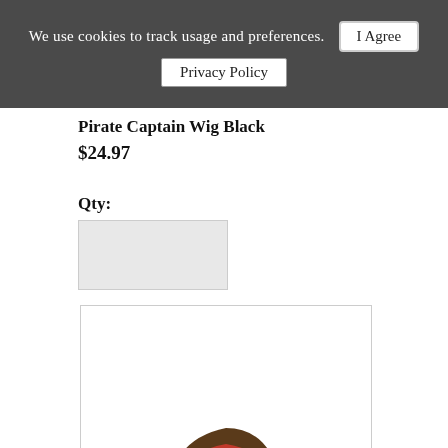We use cookies to track usage and preferences.  I Agree  Privacy Policy
Pirate Captain Wig Black
$24.97
Qty:
[Figure (photo): Man wearing a pirate captain wig with brown braided hair, red bandana, and beads, dressed in a white ruffled shirt]